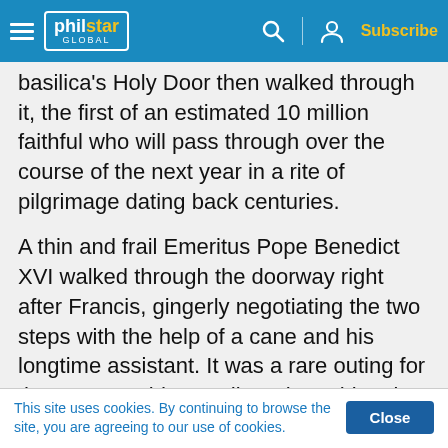philstar GLOBAL — Subscribe
basilica's Holy Door then walked through it, the first of an estimated 10 million faithful who will pass through over the course of the next year in a rite of pilgrimage dating back centuries.
A thin and frail Emeritus Pope Benedict XVI walked through the doorway right after Francis, gingerly negotiating the two steps with the help of a cane and his longtime assistant. It was a rare outing for the 88-year-old Benedict, whose historic resignation le s
This site uses cookies. By continuing to browse the site, you are agreeing to our use of cookies.